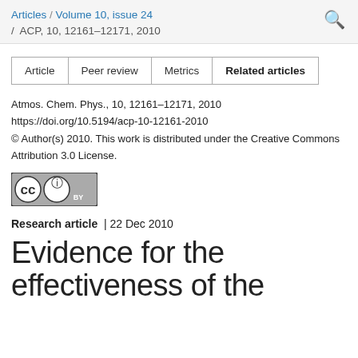Articles / Volume 10, issue 24 / ACP, 10, 12161–12171, 2010
| Article | Peer review | Metrics | Related articles |
| --- | --- | --- | --- |
Atmos. Chem. Phys., 10, 12161–12171, 2010
https://doi.org/10.5194/acp-10-12161-2010
© Author(s) 2010. This work is distributed under the Creative Commons Attribution 3.0 License.
[Figure (logo): Creative Commons Attribution (CC BY) license badge]
Research article | 22 Dec 2010
Evidence for the effectiveness of the